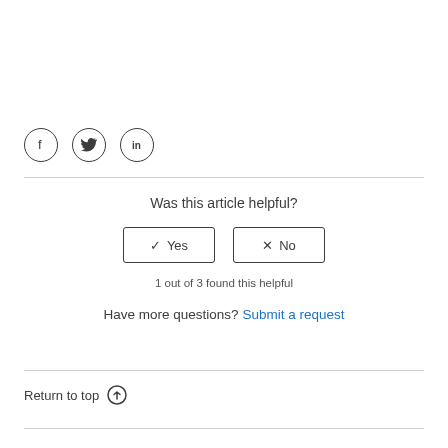[Figure (other): Social share icons: Facebook, Twitter, LinkedIn — each in a circle outline]
Was this article helpful?
✓ Yes   ✗ No (buttons)
1 out of 3 found this helpful
Have more questions? Submit a request
Return to top ↑